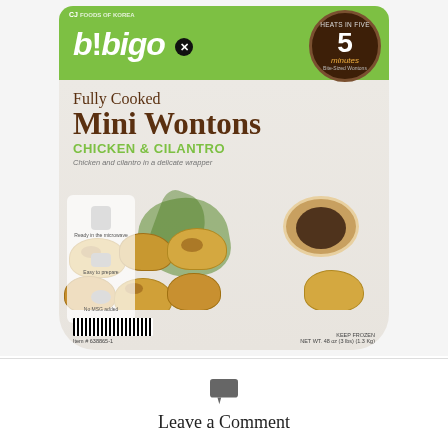[Figure (photo): Bibigo brand frozen food package for Fully Cooked Mini Wontons Chicken & Cilantro. Green top with bibigo logo, brown circular badge reading 'HEATS IN FIVE MINUTES' with large '5 minutes', product name in brown serif font, green text 'CHICKEN & CILANTRO', tagline 'Chicken and cilantro in a delicate wrapper', photo of golden wontons with dipping sauce and cilantro garnish, barcode and net weight info at bottom.]
Leave a Comment